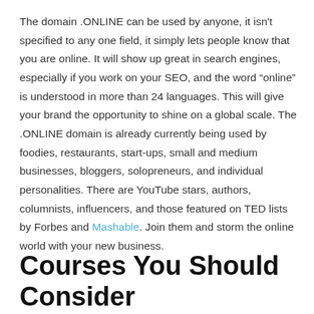The domain .ONLINE can be used by anyone, it isn't specified to any one field, it simply lets people know that you are online. It will show up great in search engines, especially if you work on your SEO, and the word “online” is understood in more than 24 languages. This will give your brand the opportunity to shine on a global scale. The .ONLINE domain is already currently being used by foodies, restaurants, start-ups, small and medium businesses, bloggers, solopreneurs, and individual personalities. There are YouTube stars, authors, columnists, influencers, and those featured on TED lists by Forbes and Mashable. Join them and storm the online world with your new business.
Courses You Should Consider